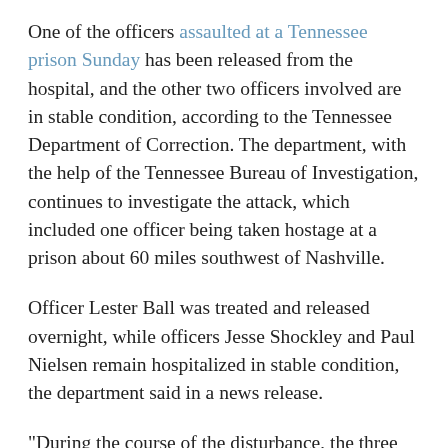One of the officers assaulted at a Tennessee prison Sunday has been released from the hospital, and the other two officers involved are in stable condition, according to the Tennessee Department of Correction. The department, with the help of the Tennessee Bureau of Investigation, continues to investigate the attack, which included one officer being taken hostage at a prison about 60 miles southwest of Nashville.
Officer Lester Ball was treated and released overnight, while officers Jesse Shockley and Paul Nielsen remain hospitalized in stable condition, the department said in a news release.
"During the course of the disturbance, the three officers were stabbed multiple times. Two of those officers, Ball and Nielsen were removed from the unit immediately," the release states.
"Officer Jesse Shockley was held hostage for approximately three hours. TDOC’s Special Operations Unit responded and regained control of the unit without force at approximately 7:00 pm, allowing Officer Shockley to be removed without further incident. All three officers were taken by helicopter to a local